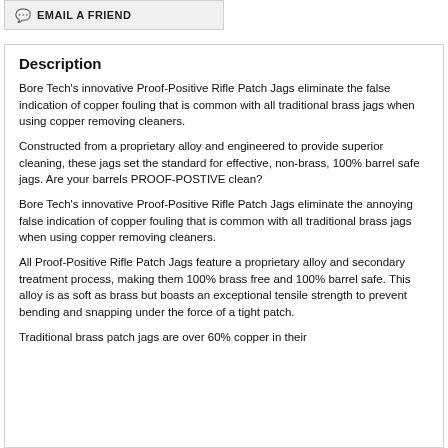EMAIL A FRIEND
Description
Bore Tech's innovative Proof-Positive Rifle Patch Jags eliminate the false indication of copper fouling that is common with all traditional brass jags when using copper removing cleaners.
Constructed from a proprietary alloy and engineered to provide superior cleaning, these jags set the standard for effective, non-brass, 100% barrel safe jags. Are your barrels PROOF-POSTIVE clean?
Bore Tech's innovative Proof-Positive Rifle Patch Jags eliminate the annoying false indication of copper fouling that is common with all traditional brass jags when using copper removing cleaners.
All Proof-Positive Rifle Patch Jags feature a proprietary alloy and secondary treatment process, making them 100% brass free and 100% barrel safe. This alloy is as soft as brass but boasts an exceptional tensile strength to prevent bending and snapping under the force of a tight patch.
Traditional brass patch jags are over 60% copper in their